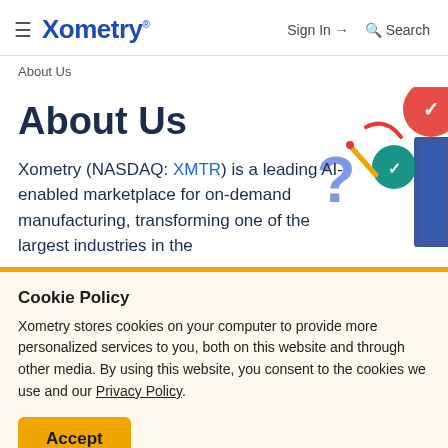≡ Xometry — Sign In → Search
About Us
About Us
Xometry (NASDAQ: XMTR) is a leading AI-enabled marketplace for on-demand manufacturing, transforming one of the largest industries in the
Cookie Policy
Xometry stores cookies on your computer to provide more personalized services to you, both on this website and through other media. By using this website, you consent to the cookies we use and our Privacy Policy.
Accept